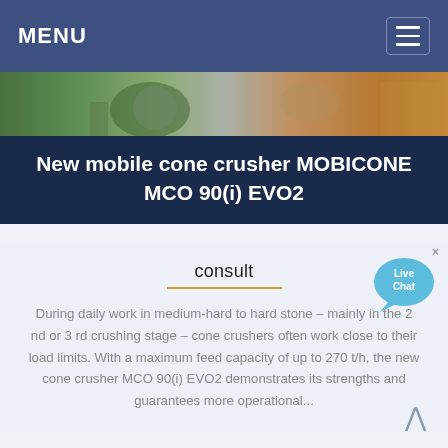MENU
[Figure (photo): Hero image strip showing quarry/crushing equipment with green machinery and rocky landscape]
New mobile cone crusher MOBICONE MCO 90(i) EVO2
consult
During daily work in medium-hard to hard stone – mainly in the 2 nd or 3 rd crushing stage – cone crushers often work close to their load limits. With a maximum feed capacity of up to 270 t/h, the new cone crusher MCO 90(i) EVO2 demonstrates its strengths and guarantees more operational...